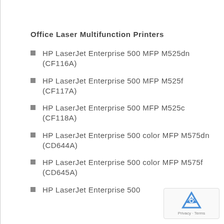Office Laser Multifunction Printers
HP LaserJet Enterprise 500 MFP M525dn (CF116A)
HP LaserJet Enterprise 500 MFP M525f (CF117A)
HP LaserJet Enterprise 500 MFP M525c (CF118A)
HP LaserJet Enterprise 500 color MFP M575dn (CD644A)
HP LaserJet Enterprise 500 color MFP M575f (CD645A)
HP LaserJet Enterprise 500